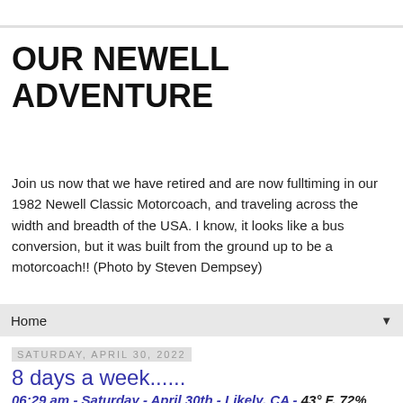OUR NEWELL ADVENTURE
Join us now that we have retired and are now fulltiming in our 1982 Newell Classic Motorcoach, and traveling across the width and breadth of the USA. I know, it looks like a bus conversion, but it was built from the ground up to be a motorcoach!! (Photo by Steven Dempsey)
Home
Saturday, April 30, 2022
8 days a week......
06:29 am - Saturday - April 30th - Likely, CA - 43° F, 72%